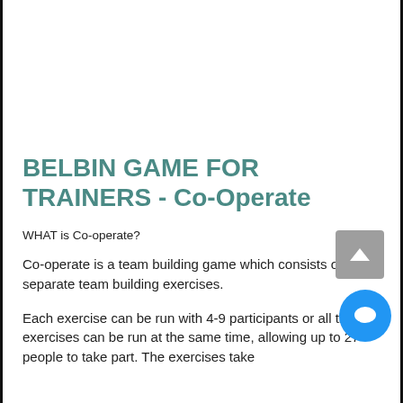BELBIN GAME FOR TRAINERS - Co-Operate
WHAT is Co-operate?
Co-operate is a team building game which consists of 3 separate team building exercises.
Each exercise can be run with 4-9 participants or all the exercises can be run at the same time, allowing up to 27 people to take part. The exercises take